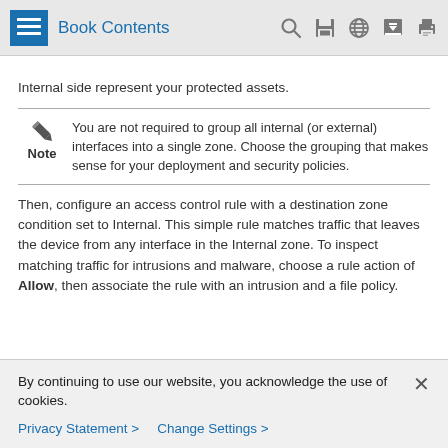Book Contents
Internal side represent your protected assets.
Note: You are not required to group all internal (or external) interfaces into a single zone. Choose the grouping that makes sense for your deployment and security policies.
Then, configure an access control rule with a destination zone condition set to Internal. This simple rule matches traffic that leaves the device from any interface in the Internal zone. To inspect matching traffic for intrusions and malware, choose a rule action of Allow, then associate the rule with an intrusion and a file policy.
By continuing to use our website, you acknowledge the use of cookies.
Privacy Statement > Change Settings >